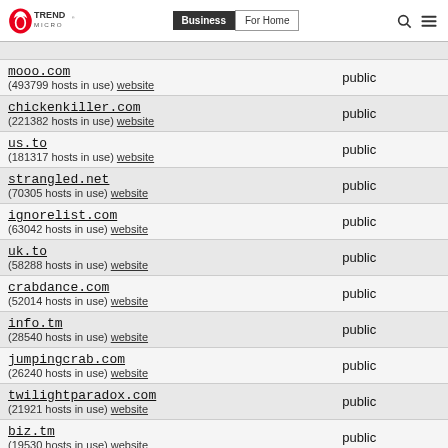Trend Micro — Business | For Home
| Domain | Status |
| --- | --- |
| mooo.com (493799 hosts in use) website | public |
| chickenkiller.com (221382 hosts in use) website | public |
| us.to (181317 hosts in use) website | public |
| strangled.net (70305 hosts in use) website | public |
| ignorelist.com (63042 hosts in use) website | public |
| uk.to (58288 hosts in use) website | public |
| crabdance.com (52014 hosts in use) website | public |
| info.tm (28540 hosts in use) website | public |
| jumpingcrab.com (26240 hosts in use) website | public |
| twilightparadox.com (21921 hosts in use) website | public |
| biz.tm (19530 hosts in use) website | public |
| continent.kz (11462 hosts in use) website | private |